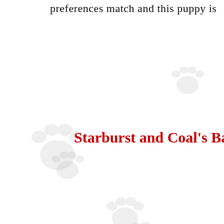preferences match and this puppy is
Starburst and Coal's Bab